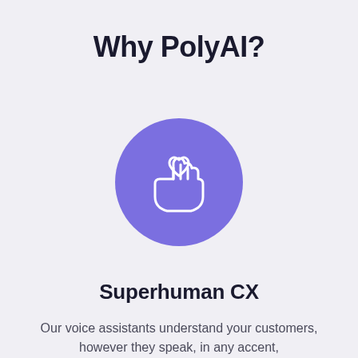Why PolyAI?
[Figure (illustration): Purple circle with white line-art icon of a hand holding a heart, representing care or customer experience]
Superhuman CX
Our voice assistants understand your customers, however they speak, in any accent,